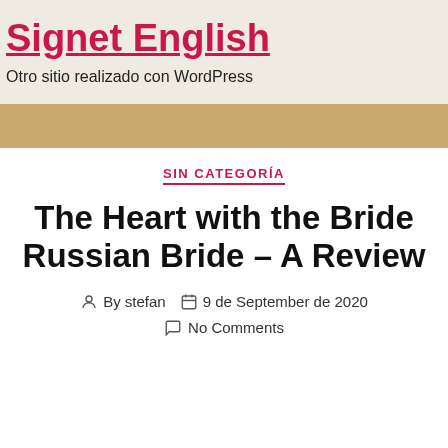Signet English
Otro sitio realizado con WordPress
SIN CATEGORÍA
The Heart with the Bride Russian Bride – A Review
By stefan  9 de September de 2020  No Comments